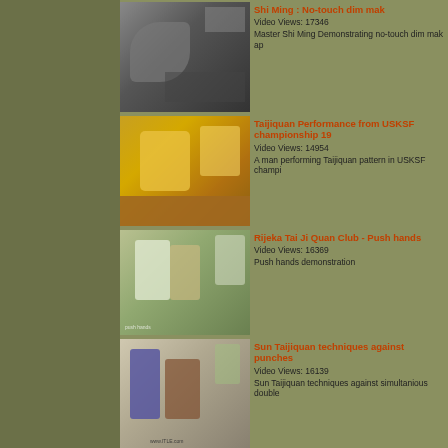[Figure (photo): Thumbnail of Shi Ming no-touch dim mak video - black and white crowd scene]
Shi Ming : No-touch dim mak
Video Views: 17346
Master Shi Ming Demonstrating no-touch dim mak ap...
[Figure (photo): Thumbnail of Taijiquan Performance USKSF championship - man performing in yellow crowd]
Taijiquan Performance from USKSF championship 19...
Video Views: 14954
A man performing Taijiquan pattern in USKSF champi...
[Figure (photo): Thumbnail of Rijeka Tai Ji Quan Club Push hands video - two people demonstrating push hands]
Rijeka Tai Ji Quan Club - Push hands
Video Views: 16369
Push hands demonstration
[Figure (photo): Thumbnail of Sun Taijiquan techniques against punches - martial arts demonstration]
Sun Taijiquan techniques against punches
Video Views: 16139
Sun Taijiquan techniques against simultanious double...
[Figure (photo): Thumbnail of Master Wong Taijiquan Applications samples video]
Master Wong - Taijiquan Applications samples
Video Views: 15822
Master Wong showing some taijiquan applications...